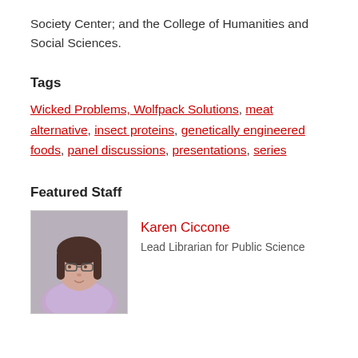Society Center; and the College of Humanities and Social Sciences.
Tags
Wicked Problems, Wolfpack Solutions, meat alternative, insect proteins, genetically engineered foods, panel discussions, presentations, series
Featured Staff
[Figure (photo): Headshot of Karen Ciccone, a woman with dark hair and glasses wearing a light purple shirt, against a grey background.]
Karen Ciccone
Lead Librarian for Public Science